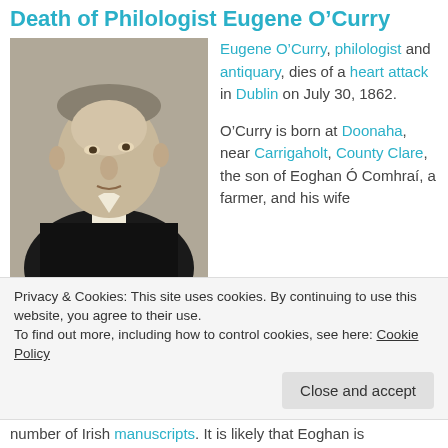Death of Philologist Eugene O'Curry
[Figure (photo): Black and white portrait photograph of Eugene O'Curry, a middle-aged man wearing a dark coat and white cravat, with short hair, looking slightly to the left.]
Eugene O'Curry, philologist and antiquary, dies of a heart attack in Dublin on July 30, 1862.

O'Curry is born at Doonaha, near Carrigaholt, County Clare, the son of Eoghan Ó Comhraí, a farmer, and his wife
Privacy & Cookies: This site uses cookies. By continuing to use this website, you agree to their use.
To find out more, including how to control cookies, see here: Cookie Policy
Close and accept
number of Irish manuscripts. It is likely that Eoghan is